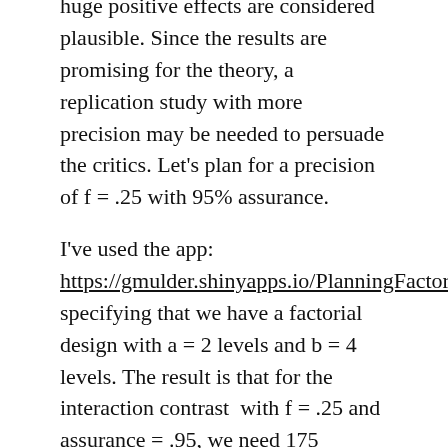huge positive effects are considered plausible. Since the results are promising for the theory, a replication study with more precision may be needed to persuade the critics. Let's plan for a precision of f = .25 with 95% assurance.
I've used the app: https://gmulder.shinyapps.io/PlanningFactorialContrasts/ specifying that we have a factorial design with a = 2 levels and b = 4 levels. The result is that for the interaction contrast  with f = .25 and assurance = .95, we need 175 participants per combination of